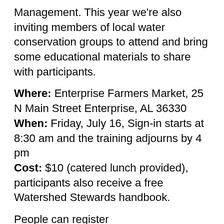Management. This year we're also inviting members of local water conservation groups to attend and bring some educational materials to share with participants.
Where: Enterprise Farmers Market, 25 N Main Street Enterprise, AL 36330
When: Friday, July 16, Sign-in starts at 8:30 am and the training adjourns by 4 pm
Cost: $10 (catered lunch provided), participants also receive a free Watershed Stewards handbook.
People can register here: https://aub.ie/awsenterprise and follow/share the Facebook Event or our Instagram posts.
CEUs: The training is approved for .7 CEUs from